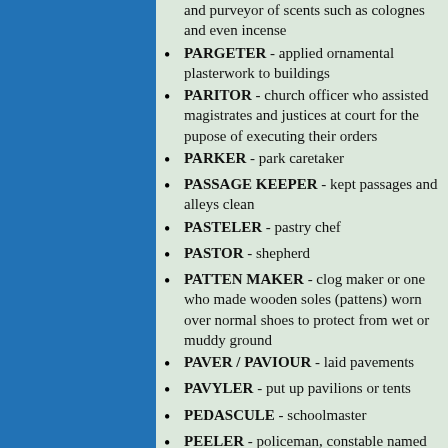and purveyor of scents such as colognes and even incense
PARGETER - applied ornamental plasterwork to buildings
PARITOR - church officer who assisted magistrates and justices at court for the pupose of executing their orders
PARKER - park caretaker
PASSAGE KEEPER - kept passages and alleys clean
PASTELER - pastry chef
PASTOR - shepherd
PATTEN MAKER - clog maker or one who made wooden soles (pattens) worn over normal shoes to protect from wet or muddy ground
PAVER / PAVIOUR - laid pavements
PAVYLER - put up pavilions or tents
PEDASCULE - schoolmaster
PEELER - policeman, constable named after Sir Robert Peel founder of the police